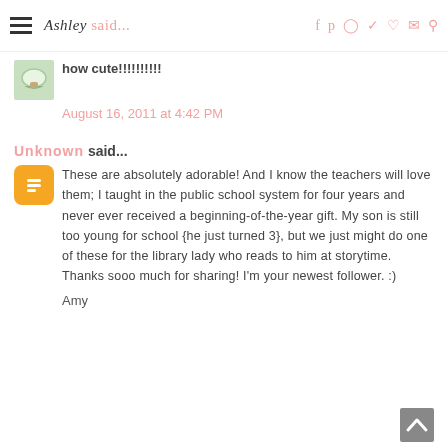Ashley said... [navigation icons: f p Instagram Twitter heart mail search]
how cute!!!!!!!!!!
August 16, 2011 at 4:42 PM
Unknown said...
These are absolutely adorable! And I know the teachers will love them; I taught in the public school system for four years and never ever received a beginning-of-the-year gift. My son is still too young for school {he just turned 3}, but we just might do one of these for the library lady who reads to him at storytime. Thanks sooo much for sharing! I'm your newest follower. :)
Amy